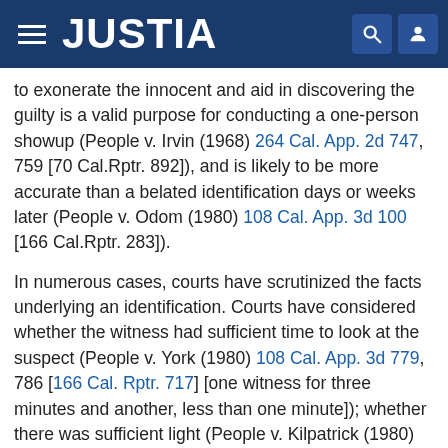JUSTIA
to exonerate the innocent and aid in discovering the guilty is a valid purpose for conducting a one-person showup (People v. Irvin (1968) 264 Cal. App. 2d 747, 759 [70 Cal.Rptr. 892]), and is likely to be more accurate than a belated identification days or weeks later (People v. Odom (1980) 108 Cal. App. 3d 100 [166 Cal.Rptr. 283]).
In numerous cases, courts have scrutinized the facts underlying an identification. Courts have considered whether the witness had sufficient time to look at the suspect (People v. York (1980) 108 Cal. App. 3d 779, 786 [166 Cal. Rptr. 717] [one witness for three minutes and another, less than one minute]); whether there was sufficient light (People v. Kilpatrick (1980) 105 Cal. App. 3d 401, 412 [164 Cal. Rptr. 349], disapproved on other grounds in People v. Bustamante (1981) 30 Cal. 3d 88, 102 [177 Cal. Rptr. 576, 634 P.2d 927]); the distance